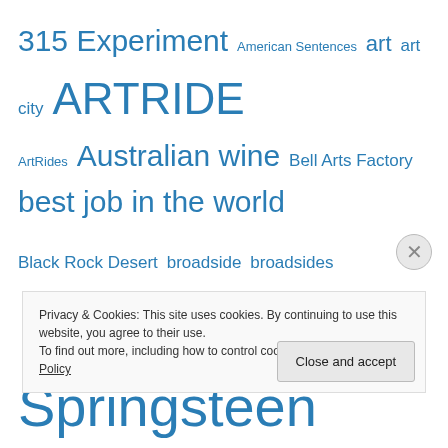[Figure (infographic): Tag cloud with various topics in different font sizes, all in blue. Tags include: 315 Experiment, American Sentences, art, art city, ARTRIDE, ArtRides, Australian wine, Bell Arts Factory, best job in the world, Black Rock Desert, broadside, broadsides, Bruce Springsteen, burning man, camping, Chris Ringland, chumash, climate change, conceptual poetry, critical mass, Danika Dinsmore, Earth Day, Earth Month, Enoforum Wines, European Wine Bloggers Conference, experimental poetry, family, First Friday ArtRide, Grateful Palate, health]
Privacy & Cookies: This site uses cookies. By continuing to use this website, you agree to their use.
To find out more, including how to control cookies, see here: Cookie Policy
Close and accept